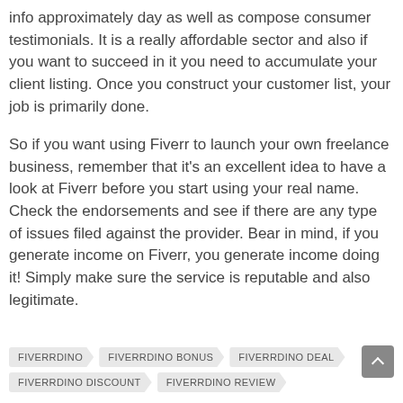info approximately day as well as compose consumer testimonials. It is a really affordable sector and also if you want to succeed in it you need to accumulate your client listing. Once you construct your customer list, your job is primarily done.
So if you want using Fiverr to launch your own freelance business, remember that it's an excellent idea to have a look at Fiverr before you start using your real name. Check the endorsements and see if there are any type of issues filed against the provider. Bear in mind, if you generate income on Fiverr, you generate income doing it! Simply make sure the service is reputable and also legitimate.
FIVERRDINO
FIVERRDINO BONUS
FIVERRDINO DEAL
FIVERRDINO DISCOUNT
FIVERRDINO REVIEW